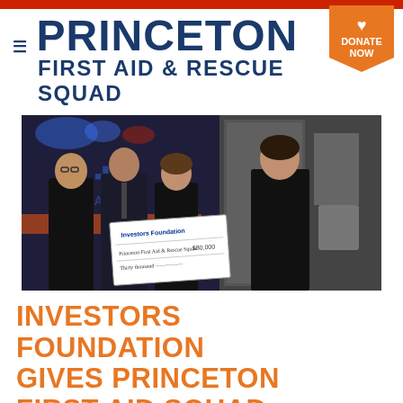PRINCETON FIRST AID & RESCUE SQUAD
[Figure (photo): Four people standing in front of an ambulance, holding a large ceremonial check made out to Princeton First Aid & Rescue Squad]
INVESTORS FOUNDATION GIVES PRINCETON FIRST AID SQUAD $30,000 GRANT TO HELP TRAIN